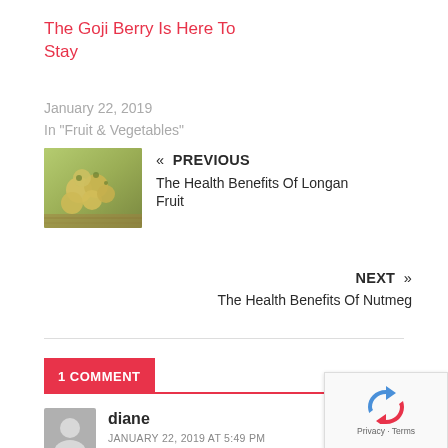The Goji Berry Is Here To Stay
January 22, 2019
In "Fruit & Vegetables"
« PREVIOUS
The Health Benefits Of Longan Fruit
NEXT »
The Health Benefits Of Nutmeg
1 COMMENT
diane
JANUARY 22, 2019 AT 5:49 PM